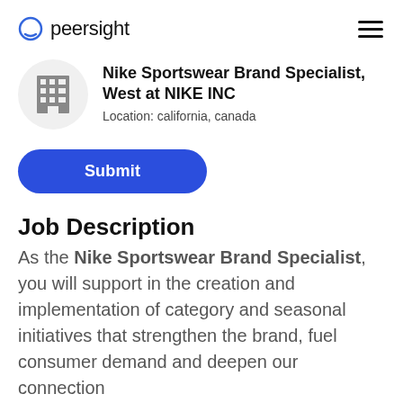peersight
Nike Sportswear Brand Specialist, West at NIKE INC
Location: california, canada
Submit
Job Description
As the Nike Sportswear Brand Specialist, you will support in the creation and implementation of category and seasonal initiatives that strengthen the brand, fuel consumer demand and deepen our connection